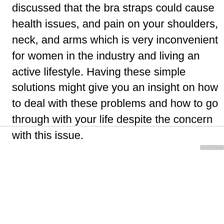discussed that the bra straps could cause health issues, and pain on your shoulders, neck, and arms which is very inconvenient for women in the industry and living an active lifestyle. Having these simple solutions might give you an insight on how to deal with these problems and how to go through with your life despite the concern with this issue.